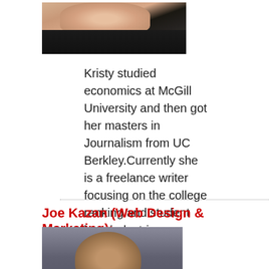[Figure (photo): Photo of Kristy, a young woman with reddish-brown hair wearing a black and white top]
Kristy studied economics at McGill University and then got her masters in Journalism from UC Berkley.Currently she is a freelance writer focusing on the college ranking and student loan industries.
Joe Kazan (Web Design & Marketing):
[Figure (photo): Photo of Joe Kazan, a middle-aged man with dark hair, shown against a gray/blue background]